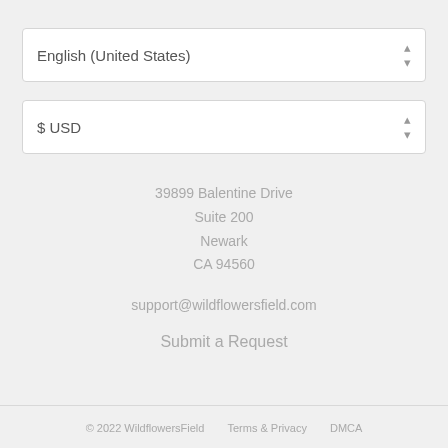[Figure (screenshot): Dropdown select box showing 'English (United States)' with up-down arrow icon]
[Figure (screenshot): Dropdown select box showing '$ USD' with up-down arrow icon]
39899 Balentine Drive
Suite 200
Newark
CA 94560
support@wildflowersfield.com
Submit a Request
© 2022 WildflowersField   Terms & Privacy   DMCA